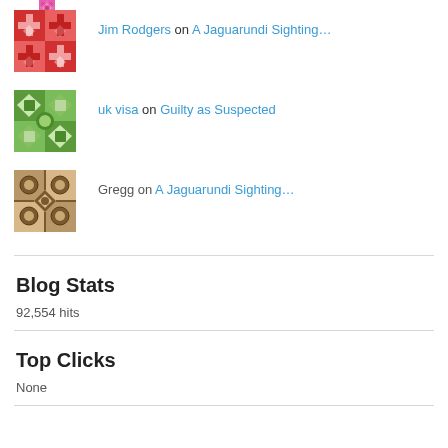Jim Rodgers on A Jaguarundi Sighting…
uk visa on Guilty as Suspected
Gregg on A Jaguarundi Sighting…
Blog Stats
92,554 hits
Top Clicks
None